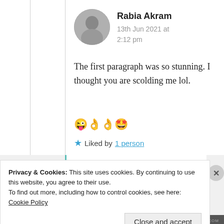[Figure (photo): Circular avatar photo of Rabia Akram, black and white portrait]
Rabia Akram
13th Jun 2021 at 2:12 pm
The first paragraph was so stunning. I thought you are scolding me lol. 😜👌👌🤩
★ Liked by 1 person
Privacy & Cookies: This site uses cookies. By continuing to use this website, you agree to their use.
To find out more, including how to control cookies, see here: Cookie Policy
Close and accept